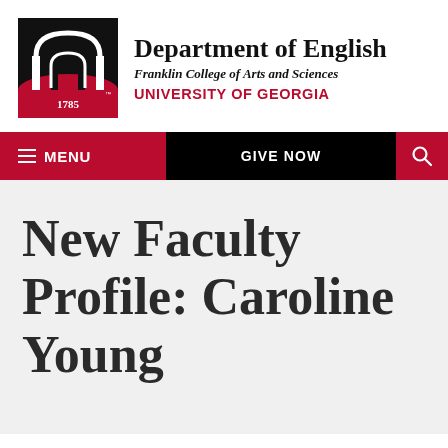[Figure (logo): University of Georgia arch logo with black and red/white colors, year 1785]
Department of English
Franklin College of Arts and Sciences
UNIVERSITY OF GEORGIA
≡ MENU   GIVE NOW   🔍
New Faculty Profile: Caroline Young